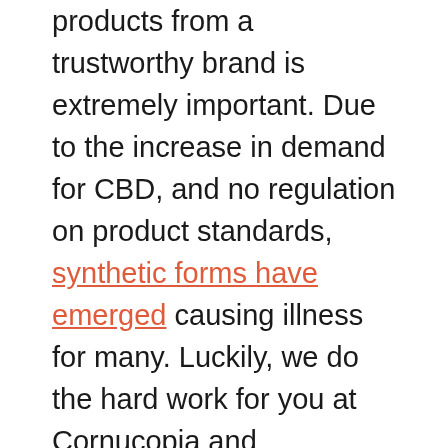products from a trustworthy brand is extremely important. Due to the increase in demand for CBD, and no regulation on product standards, synthetic forms have emerged causing illness for many. Luckily, we do the hard work for you at Cornucopia and thoroughly research every product we sell to you. Plus CBD was one of the first CBD product lines we carried and we still love their transparency, reliability and high quality products.
Plus CBD offers a full line of products; sprays and tinctures are the best absorbed as they do not use the digestive system. These can